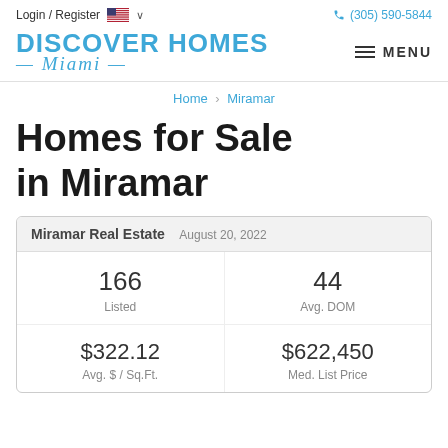Login / Register   🇺🇸 ∨   (305) 590-5844
[Figure (logo): Discover Homes Miami logo with blue text]
Home > Miramar
Homes for Sale in Miramar
|  |  |
| --- | --- |
| Miramar Real Estate | August 20, 2022 |
| 166
Listed | 44
Avg. DOM |
| $322.12
Avg. $ / Sq.Ft. | $622,450
Med. List Price |